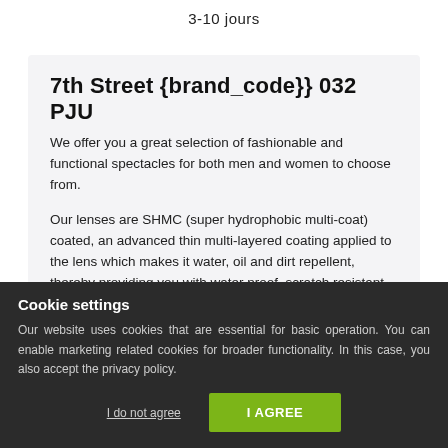3-10 jours
7th Street {brand_code}} 032 PJU
We offer you a great selection of fashionable and functional spectacles for both men and women to choose from.
Our lenses are SHMC (super hydrophobic multi-coat) coated, an advanced thin multi-layered coating applied to the lens which makes it water, oil and dirt repellent, thereby providing you with water proof, scratch resistant, UV protective and anti-reflective eyeglasses
Cookie settings
Our website uses cookies that are essential for basic operation. You can enable marketing related cookies for broader functionality. In this case, you also accept the privacy policy.